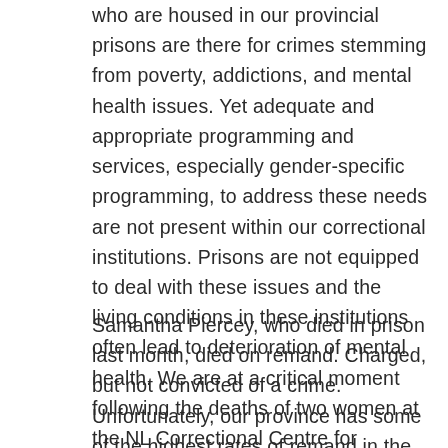who are housed in our provincial prisons are there for crimes stemming from poverty, addictions, and mental health issues. Yet adequate and appropriate programming and services, especially gender-specific programming, to address these needs are not present within our correctional institutions. Prisons are not equipped to deal with these issues and the living conditions in these institutions often lead to deterioration of mental health. We are at a critical moment following the deaths of two women at the NL Correctional Centre for Women, change through community collaboration is paramount.
Samantha Piercey, who died in prison last month, died on remand. Charged, but not convicted of a crime. Unfortunately, our province has some of the highest rates of remand in the country. Whenever possible, individuals on remand should remain in the community